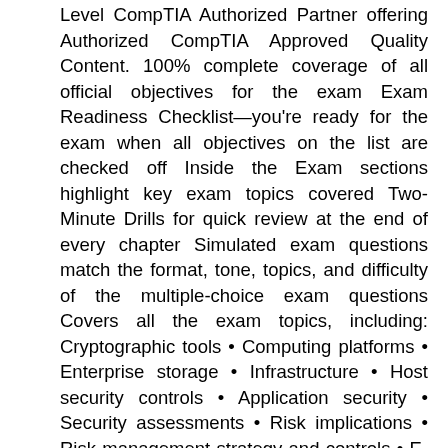Level CompTIA Authorized Partner offering Authorized CompTIA Approved Quality Content. 100% complete coverage of all official objectives for the exam Exam Readiness Checklist—you're ready for the exam when all objectives on the list are checked off Inside the Exam sections highlight key exam topics covered Two-Minute Drills for quick review at the end of every chapter Simulated exam questions match the format, tone, topics, and difficulty of the multiple-choice exam questions Covers all the exam topics, including: Cryptographic tools • Computing platforms • Enterprise storage • Infrastructure • Host security controls • Application security • Security assessments • Risk implications • Risk management strategy and controls • E-discovery, data breaches, and incident response • Security and privacy policies • Industry trends •